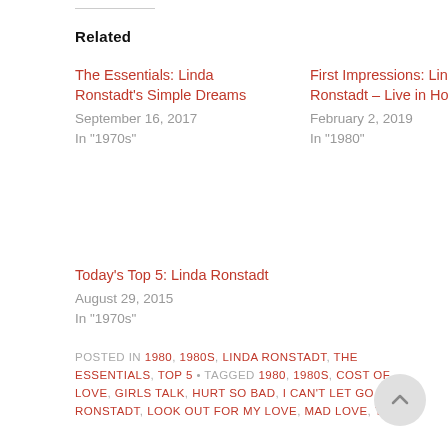Related
The Essentials: Linda Ronstadt's Simple Dreams
September 16, 2017
In "1970s"
First Impressions: Linda Ronstadt – Live in Hollywood
February 2, 2019
In "1980"
Today's Top 5: Linda Ronstadt
August 29, 2015
In "1970s"
POSTED IN 1980, 1980S, LINDA RONSTADT, THE ESSENTIALS, TOP 5 • TAGGED 1980, 1980S, COST OF LOVE, GIRLS TALK, HURT SO BAD, I CAN'T LET GO, LINDA RONSTADT, LOOK OUT FOR MY LOVE, MAD LOVE, TOP 5